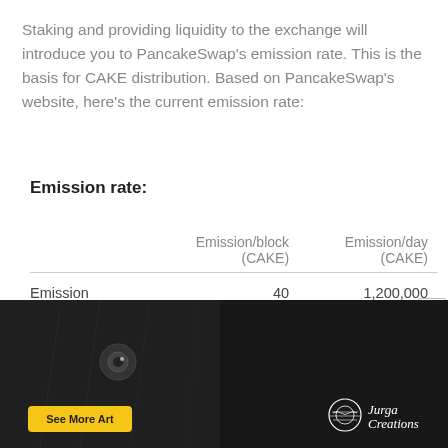Staking and providing liquidity to the exchange will introduce you to PancakeSwap's emission rate. This is the basis for CAKE distribution. Based on PancakeSwap's website, here's the current emission rate:
Emission rate:
|  | Emission/block (CAKE) | Emission/day (CAKE) |
| --- | --- | --- |
| Emission | 40 | 1,200,000 |
| Burned | -15 | -450,000 |
[Figure (illustration): Advertisement banner showing an artistic illustration of an owl and a nature figure, with a 'See More Art' button and 'Jurga Creations' branding.]